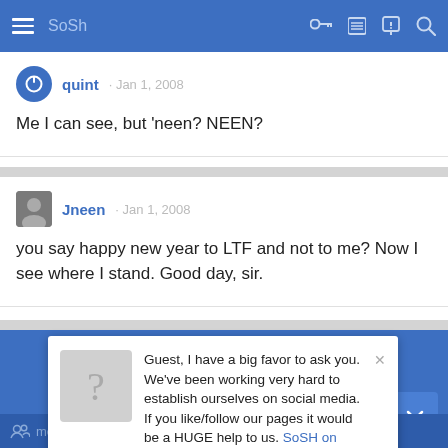SoSh
quint · Jan 1, 2008
Me I can see, but 'neen? NEEN?
Jneen · Jan 1, 2008
you say happy new year to LTF and not to me? Now I see where I stand. Good day, sir.
Guest, I have a big favor to ask you. We've been working very hard to establish ourselves on social media. If you like/follow our pages it would be a HUGE help to us. SoSH on Facebook and Inside the Pylon Thanks! Nip
members online